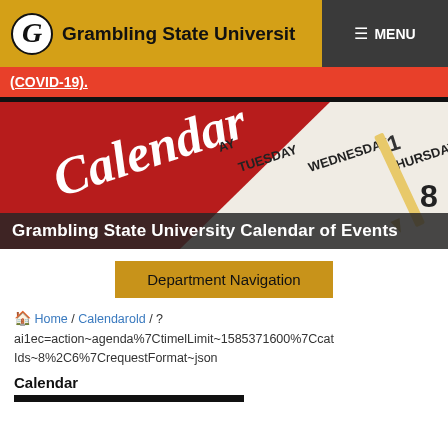Grambling State University  ☰ MENU
(COVID-19).
[Figure (photo): Calendar image showing a red diagonal banner with the word 'Calendar' in white script, with calendar days visible: Tuesday, Wednesday, Thursday, Friday, and numbers 1 and 8, and a pencil visible on the right.]
Grambling State University Calendar of Events
Department Navigation
🏠 Home / Calendarold / ?ai1ec=action~agenda%7CtimelLimit~1585371600%7Ccat Ids~8%2C6%7CrequestFormat~json
Calendar